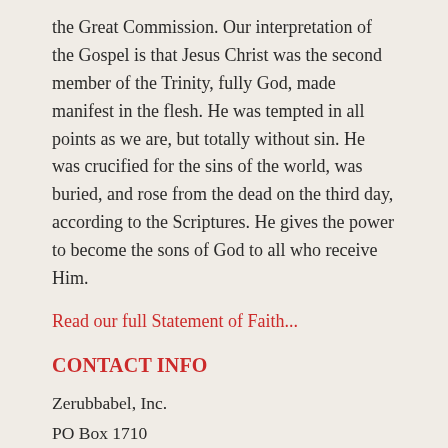the Great Commission. Our interpretation of the Gospel is that Jesus Christ was the second member of the Trinity, fully God, made manifest in the flesh. He was tempted in all points as we are, but totally without sin. He was crucified for the sins of the world, was buried, and rose from the dead on the third day, according to the Scriptures. He gives the power to become the sons of God to all who receive Him.
Read our full Statement of Faith...
CONTACT INFO
Zerubbabel, Inc.
PO Box 1710
Blowing Rock, NC 28605
Tel: 828-295-7982